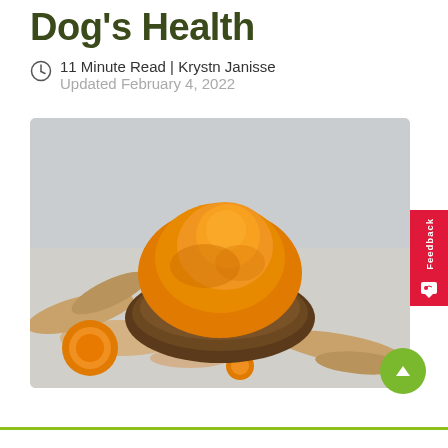Dog's Health
11 Minute Read | Krystn Janisse
Updated February 4, 2022
[Figure (photo): A wooden bowl filled with bright orange turmeric powder surrounded by raw turmeric root pieces on a gray surface with scattered turmeric powder]
Feedback